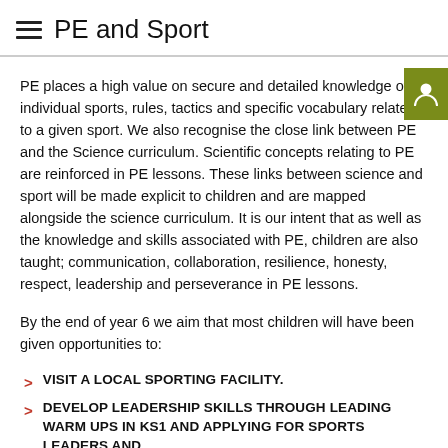PE and Sport
PE places a high value on secure and detailed knowledge of individual sports, rules, tactics and specific vocabulary related to a given sport. We also recognise the close link between PE and the Science curriculum. Scientific concepts relating to PE are reinforced in PE lessons. These links between science and sport will be made explicit to children and are mapped alongside the science curriculum. It is our intent that as well as the knowledge and skills associated with PE, children are also taught; communication, collaboration, resilience, honesty, respect, leadership and perseverance in PE lessons.
By the end of year 6 we aim that most children will have been given opportunities to:
VISIT A LOCAL SPORTING FACILITY.
DEVELOP LEADERSHIP SKILLS THROUGH LEADING WARM UPS IN KS1 AND APPLYING FOR SPORTS LEADERS AND